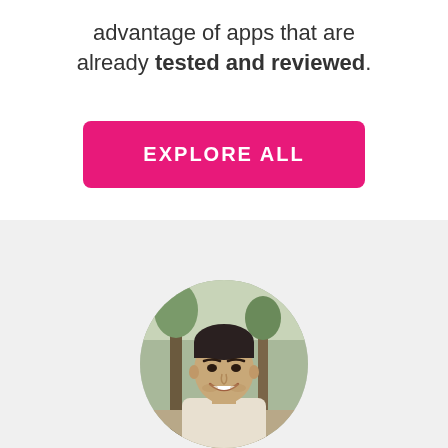advantage of apps that are already tested and reviewed.
[Figure (other): Pink rounded rectangle button with white uppercase text 'EXPLORE ALL']
[Figure (photo): Circular cropped photo of a smiling man with dark hair, outdoors with trees in background]